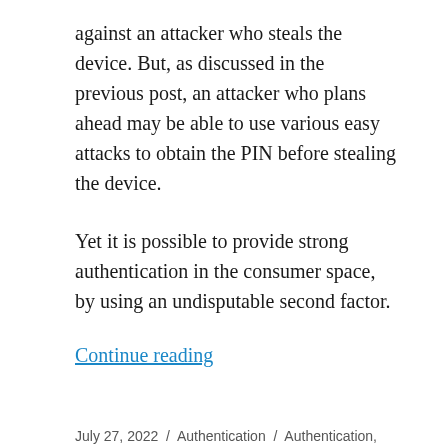against an attacker who steals the device. But, as discussed in the previous post, an attacker who plans ahead may be able to use various easy attacks to obtain the PIN before stealing the device.
Yet it is possible to provide strong authentication in the consumer space, by using an undisputable second factor.
Continue reading
July 27, 2022 / Authentication / Authentication, Cryptography, Cybersecurity, Identity / Leave a comment
Constructing Security